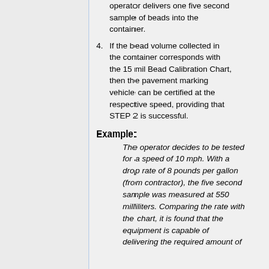operator delivers one five second sample of beads into the container.
4. If the bead volume collected in the container corresponds with the 15 mil Bead Calibration Chart, then the pavement marking vehicle can be certified at the respective speed, providing that STEP 2 is successful.
Example:
The operator decides to be tested for a speed of 10 mph. With a drop rate of 8 pounds per gallon (from contractor), the five second sample was measured at 550 milliliters. Comparing the rate with the chart, it is found that the equipment is capable of delivering the required amount of